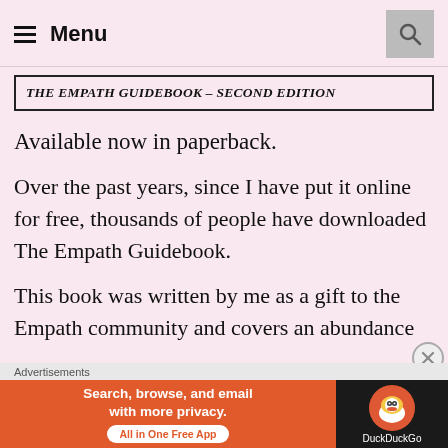Menu
THE EMPATH GUIDEBOOK – SECOND EDITION
Available now in paperback.
Over the past years, since I have put it online for free, thousands of people have downloaded The Empath Guidebook.
This book was written by me as a gift to the Empath community and covers an abundance
Advertisements
[Figure (screenshot): DuckDuckGo advertisement banner: 'Search, browse, and email with more privacy. All in One Free App' with DuckDuckGo logo on dark background.]